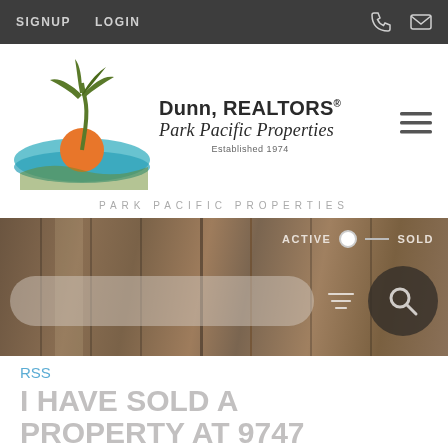SIGNUP   LOGIN
[Figure (logo): Dunn REALTORS Park Pacific Properties logo with palm tree, ocean wave, and sun graphic. Text: Dunn, REALTORS Park Pacific Properties Established 1974]
PARK PACIFIC PROPERTIES
[Figure (photo): Interior photo showing wooden panel walls/door in warm brown tones, with ACTIVE/SOLD toggle and search bar overlay]
RSS
I HAVE SOLD A PROPERTY AT 9747